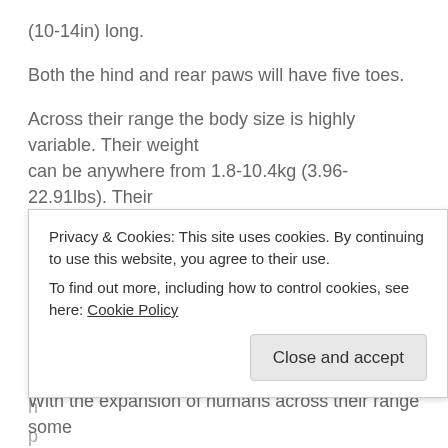(10-14in) long.
Both the hind and rear paws will have five toes.
Across their range the body size is highly variable. Their weight can be anywhere from 1.8-10.4kg (3.96-22.91lbs). Their body length can be between 40 and 65cm (16-25.5in).
Diet
Northern raccoons are omnivorous and this flexible diet
[Figure (screenshot): Cookie consent banner overlay with text: Privacy & Cookies: This site uses cookies. By continuing to use this website, you agree to their use. To find out more, including how to control cookies, see here: Cookie Policy. Button: Close and accept.]
With the expansion of humans across their range some